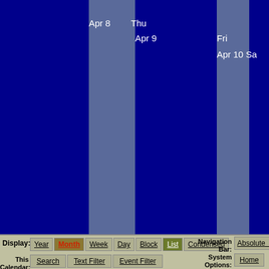[Figure (screenshot): Weekly calendar view showing columns for dates Apr 8 (Thu), Apr 9 (Fri), Apr 10 (Sat) with alternating dark navy and medium blue vertical column stripes on a blue background. No events shown.]
Display: Year  Month  Week  Day  Block  List  Condensed
Navigation Bar: Absolute  Rel
This Calendar: Search  Text Filter  Event Filter
System Options: Home